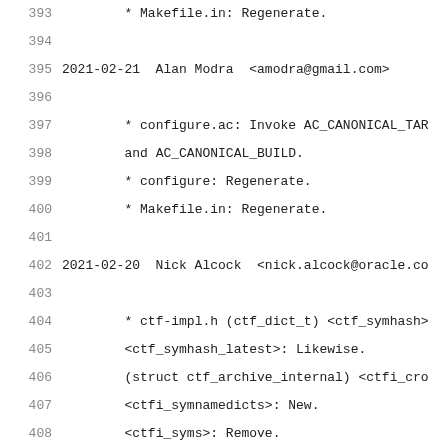393    * Makefile.in: Regenerate.
394
395  2021-02-21  Alan Modra  <amodra@gmail.com>
396
397        * configure.ac: Invoke AC_CANONICAL_TAR
398        and AC_CANONICAL_BUILD.
399        * configure: Regenerate.
400        * Makefile.in: Regenerate.
401
402  2021-02-20  Nick Alcock  <nick.alcock@oracle.co
403
404        * ctf-impl.h (ctf_dict_t) <ctf_symhash>
405        <ctf_symhash_latest>: Likewise.
406        (struct ctf_archive_internal) <ctfi_cro
407        <ctfi_symnamedicts>: New.
408        <ctfi_syms>: Remove.
409        (ctf_lookup_symbol_name): Remove.
410        * ctf-lookup.c (ctf_lookup_symbol_name)
411        parent properly.  Make static.
412        (ctf_lookup_symbol_idx): New, linear se
413        cached in the crossdict cache's ctf_sym
414        this dict's (otherwise).